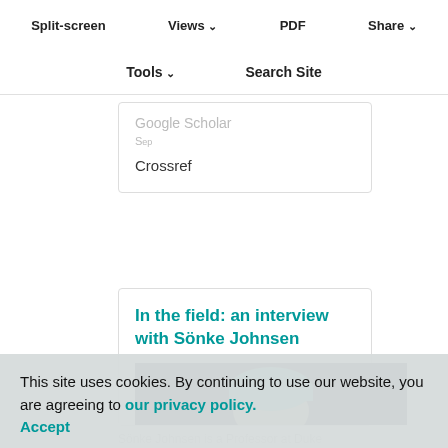Split-screen  Views  PDF  Share
Tools  Search Site
Cited by
Web of Science (30)
Google Scholar
Crossref
In the field: an interview with Sönke Johnsen
[Figure (photo): Photo of Sönke Johnsen wearing a blue/teal hat against a dark background]
This site uses cookies. By continuing to use our website, you are agreeing to our privacy policy. Accept
Sönke Johnsen is a Professor at Duke